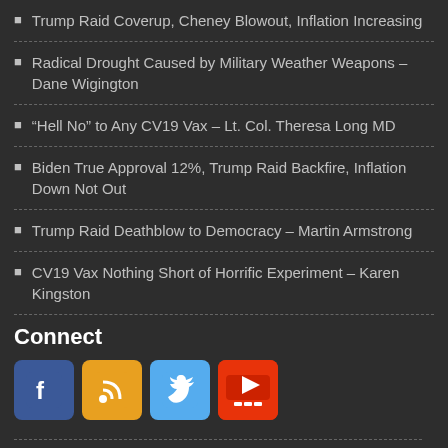Trump Raid Coverup, Cheney Blowout, Inflation Increasing
Radical Drought Caused by Military Weather Weapons – Dane Wigington
“Hell No” to Any CV19 Vax – Lt. Col. Theresa Long MD
Biden True Approval 12%, Trump Raid Backfire, Inflation Down Not Out
Trump Raid Deathblow to Democracy – Martin Armstrong
CV19 Vax Nothing Short of Horrific Experiment – Karen Kingston
Connect
[Figure (infographic): Social media icons: Facebook (blue), RSS (orange), Twitter (light blue), YouTube (red)]